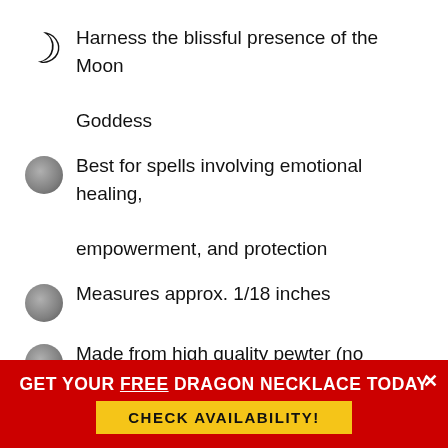Harness the blissful presence of the Moon Goddess
Best for spells involving emotional healing, empowerment, and protection
Measures approx. 1/18 inches
Made from high quality pewter (no allergy-causing nickel or lead)
GET YOUR FREE DRAGON NECKLACE TODAY
CHECK AVAILABILITY!